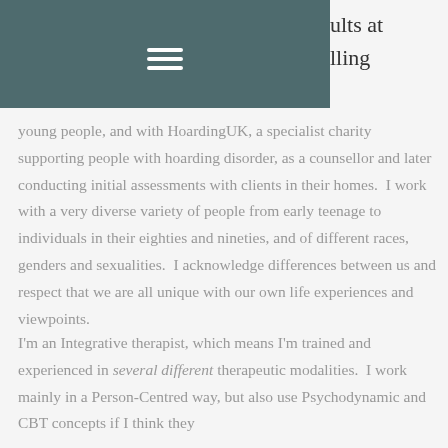ults at
ling
young people, and with HoardingUK, a specialist charity supporting people with hoarding disorder, as a counsellor and later conducting initial assessments with clients in their homes.  I work with a very diverse variety of people from early teenage to individuals in their eighties and nineties, and of different races, genders and sexualities.  I acknowledge differences between us and respect that we are all unique with our own life experiences and viewpoints.
I'm an Integrative therapist, which means I'm trained and experienced in several different therapeutic modalities.  I work mainly in a Person-Centred way, but also use Psychodynamic and CBT concepts if I think they